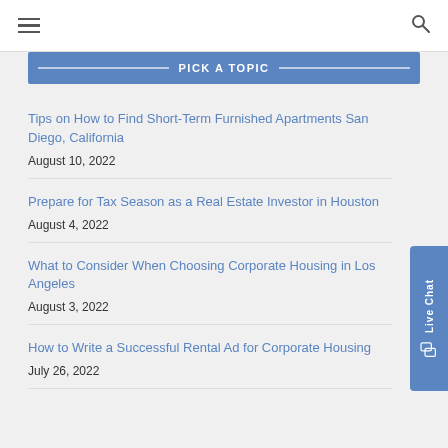≡  🔍
PICK A TOPIC
Tips on How to Find Short-Term Furnished Apartments San Diego, California
August 10, 2022
Prepare for Tax Season as a Real Estate Investor in Houston
August 4, 2022
What to Consider When Choosing Corporate Housing in Los Angeles
August 3, 2022
How to Write a Successful Rental Ad for Corporate Housing
July 26, 2022